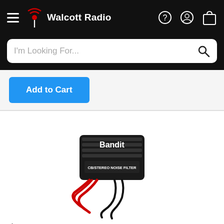Walcott Radio
I'm Looking For...
Add to Cart
[Figure (photo): Bandit CB/Stereo Noise Filter device, black rectangular unit with red and black wires]
$18.95